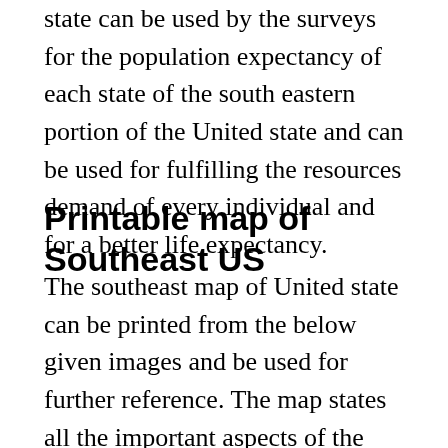state can be used by the surveys for the population expectancy of each state of the south eastern portion of the United state and can be used for fulfilling the resources demand of every individual and for a better life expectancy.
Printable map of Southeast US
The southeast map of United state can be printed from the below given images and be used for further reference. The map states all the important aspects of the southeastern portion of the United state such as the interstate highways, boundaries, capitals, contours, automobiles routes including various and toll roads, interstate and